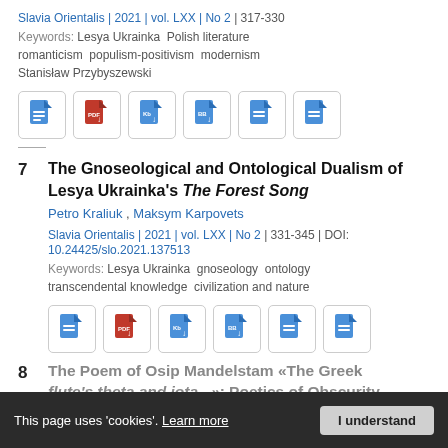Slavia Orientalis | 2021 | vol. LXX | No 2 | 317-330
Keywords: Lesya Ukrainka  Polish literature  romanticism  populism-positivism  modernism  Stanisław Przybyszewski
[Figure (other): Row of 6 document/download icon buttons]
7  The Gnoseological and Ontological Dualism of Lesya Ukrainka's The Forest Song
Petro Kraliuk , Maksym Karpovets
Slavia Orientalis | 2021 | vol. LXX | No 2 | 331-345 | DOI: 10.24425/slo.2021.137513
Keywords: Lesya Ukrainka  gnoseology  ontology  transcendental knowledge  civilization and nature
[Figure (other): Row of 6 document/download icon buttons]
8  The Poem of Osip Mandelstam «The Greek flute's theta and iota...»: Poetics of Obscurity
This page uses 'cookies'. Learn more  I understand